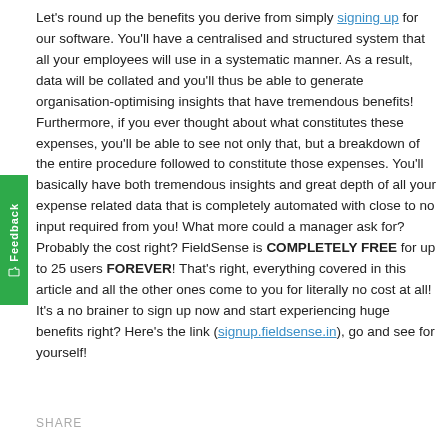Let's round up the benefits you derive from simply signing up for our software. You'll have a centralised and structured system that all your employees will use in a systematic manner. As a result, data will be collated and you'll thus be able to generate organisation-optimising insights that have tremendous benefits! Furthermore, if you ever thought about what constitutes these expenses, you'll be able to see not only that, but a breakdown of the entire procedure followed to constitute those expenses. You'll basically have both tremendous insights and great depth of all your expense related data that is completely automated with close to no input required from you! What more could a manager ask for? Probably the cost right? FieldSense is COMPLETELY FREE for up to 25 users FOREVER! That's right, everything covered in this article and all the other ones come to you for literally no cost at all! It's a no brainer to sign up now and start experiencing huge benefits right? Here's the link (signup.fieldsense.in), go and see for yourself!
SHARE